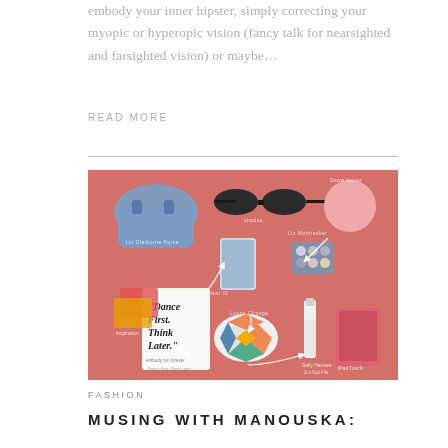embody your inner hipster, simply correcting your myopic or hyperopic vision (fancy talk for nearsighted and farsighted vision) or maybe…
READ MORE
[Figure (photo): Flat lay photo on a coral/salmon pink background showing various items labeled with arrows: Liz Claiborne purse (blue bag), shades (black sunglasses), Snow Butter (pink round product), student ID (phone with photo), Loose Change (colorful coin purse), Sal-Hannah & a Nail File, dance First Think Later (book), inspiration (stack of papers), Liz Multitasker, iPad Touch.]
FASHION
MUSING WITH MANOUSKA: